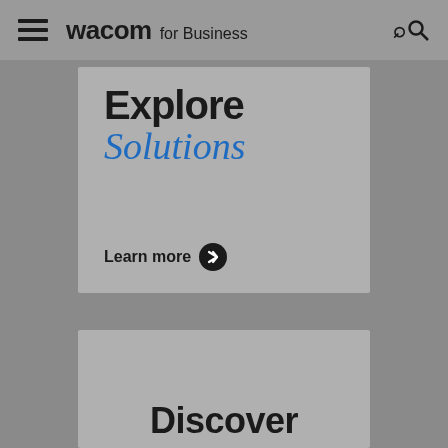wacom for Business
Explore Solutions
Learn more
Discover